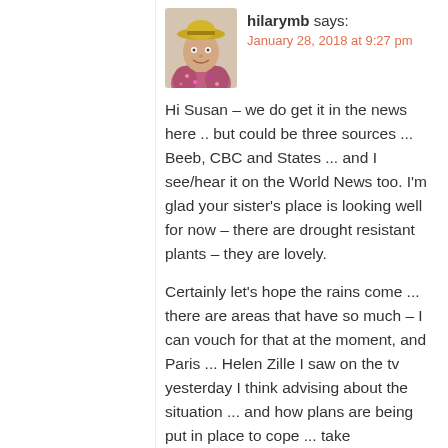[Figure (photo): Avatar photo of a woman wearing a yellow hat and colorful floral top, cropped to a small square thumbnail]
hilarymb says:
January 28, 2018 at 9:27 pm
Hi Susan – we do get it in the news here .. but could be three sources ... Beeb, CBC and States ... and I see/hear it on the World News too. I'm glad your sister's place is looking well for now – there are drought resistant plants – they are lovely.
Certainly let's hope the rains come ... there are areas that have so much – I can vouch for that at the moment, and Paris ... Helen Zille I saw on the tv yesterday I think advising about the situation ... and how plans are being put in place to cope ... take